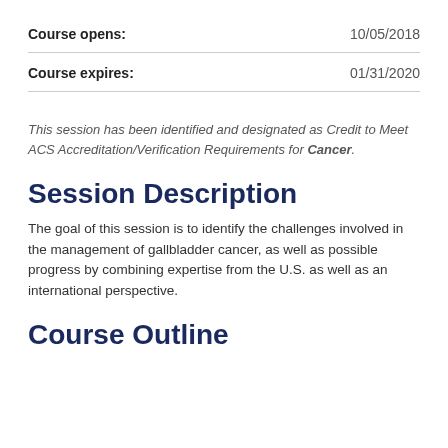Course opens: 10/05/2018
Course expires: 01/31/2020
This session has been identified and designated as Credit to Meet ACS Accreditation/Verification Requirements for Cancer.
Session Description
The goal of this session is to identify the challenges involved in the management of gallbladder cancer, as well as possible progress by combining expertise from the U.S. as well as an international perspective.
Course Outline